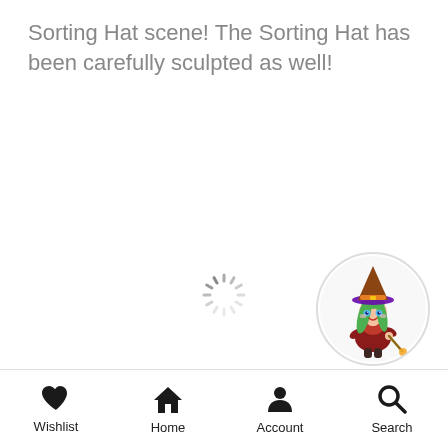Sorting Hat scene! The Sorting Hat has been carefully sculpted as well!
[Figure (illustration): Loading spinner (circular dashed spinner icon) centered on the page]
[Figure (illustration): Circular avatar image of an anime-style witch character with green hair and purple hat, holding a wand]
Wishlist  Home  Account  Search